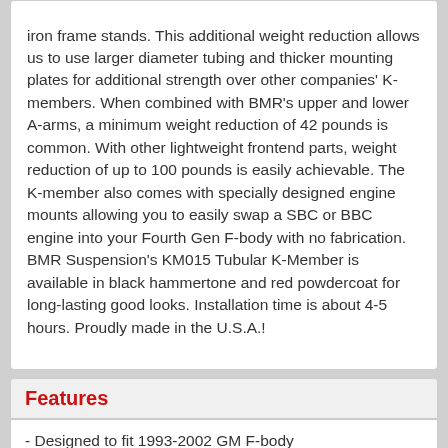iron frame stands. This additional weight reduction allows us to use larger diameter tubing and thicker mounting plates for additional strength over other companies' K-members. When combined with BMR's upper and lower A-arms, a minimum weight reduction of 42 pounds is common. With other lightweight frontend parts, weight reduction of up to 100 pounds is easily achievable. The K-member also comes with specially designed engine mounts allowing you to easily swap a SBC or BBC engine into your Fourth Gen F-body with no fabrication. BMR Suspension's KM015 Tubular K-Member is available in black hammertone and red powdercoat for long-lasting good looks. Installation time is about 4-5 hours. Proudly made in the U.S.A.!
Features
- Designed to fit 1993-2002 GM F-body
- Designed with extra room for turbo applications
- Lighter than other competitors K-members due to integrated motor mount design
- Built from heavy-duty 1-5/8-inch x 0.120 wall and 1-1/4-inch x 0.095 wall DOM tubing